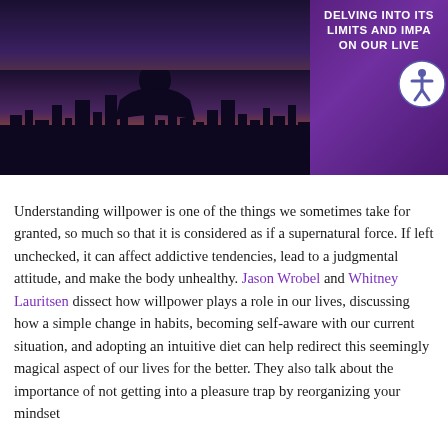[Figure (photo): Header image split into two halves: left side shows a dark silhouette of a person against a city skyline with warm sunset colors (oranges, purples); right side is a purple gradient panel with white bold text reading 'DELVING INTO ITS LIMITS AND IMPACT ON OUR LIVES'. An accessibility icon (person in circle) overlays the top-right corner.]
Understanding willpower is one of the things we sometimes take for granted, so much so that it is considered as if a supernatural force. If left unchecked, it can affect addictive tendencies, lead to a judgmental attitude, and make the body unhealthy. Jason Wrobel and Whitney Lauritsen dissect how willpower plays a role in our lives, discussing how a simple change in habits, becoming self-aware with our current situation, and adopting an intuitive diet can help redirect this seemingly magical aspect of our lives for the better. They also talk about the importance of not getting into a pleasure trap by reorganizing your mindset